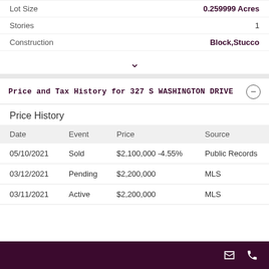Lot Size: 0.259999 Acres
Stories: 1
Construction: Block,Stucco
Price and Tax History for 327 S WASHINGTON DRIVE
Price History
| Date | Event | Price | Source |
| --- | --- | --- | --- |
| 05/10/2021 | Sold | $2,100,000 -4.55% | Public Records |
| 03/12/2021 | Pending | $2,200,000 | MLS |
| 03/11/2021 | Active | $2,200,000 | MLS |
Contact icons: email and phone